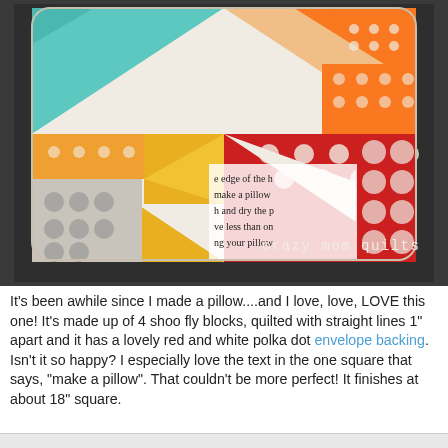[Figure (photo): A colorful patchwork quilt pillow made of 4 shoo fly blocks in teal, orange, yellow, red, and white polka dot fabrics, photographed against a dark background. Text 'crazy mom quilts' appears in the lower right of the photo in white monospace font.]
It's been awhile since I made a pillow....and I love, love, LOVE this one! It's made up of 4 shoo fly blocks, quilted with straight lines 1" apart and it has a lovely red and white polka dot envelope backing. Isn't it so happy? I especially love the text in the one square that says, "make a pillow". That couldn't be more perfect! It finishes at about 18" square.